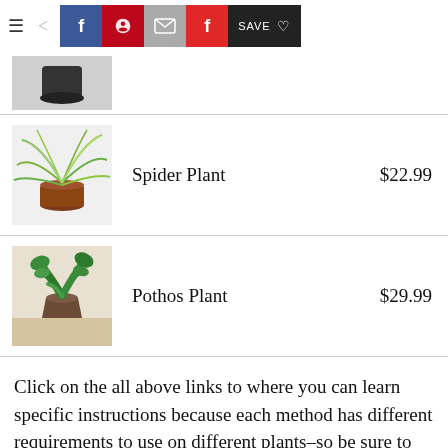Navigation bar with social sharing buttons: Facebook, Pinterest, Email, Flipboard, Save
[Figure (photo): Partial view of a black pot plant item at top]
[Figure (photo): Spider plant in a red pot]
Spider Plant   $22.99
[Figure (photo): Pothos plant in a brown pot on a table]
Pothos Plant   $29.99
Click on the all above links to where you can learn specific instructions because each method has different requirements to use on different plants–so be sure to dig into what's recommended for your specific plant.